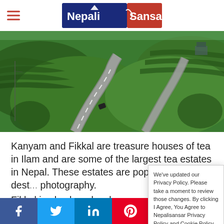Nepali Sansar
[Figure (photo): Aerial view of a winding road through lush green tea estates in Ilam, Nepal]
Kanyam and Fikkal are treasure houses of tea in Ilam and are some of the largest tea estates in Nepal. These estates are popu... as an ideal dest... photography.
Fikkal is also be... locals come and...
We've updated our Privacy Policy. Please take a moment to review those changes. By clicking I Agree, You Agree to Nepalisansar Privacy Policy and Cookie Policy Cookie settings AGREE
Facebook Twitter LinkedIn Pinterest WhatsApp Instagram